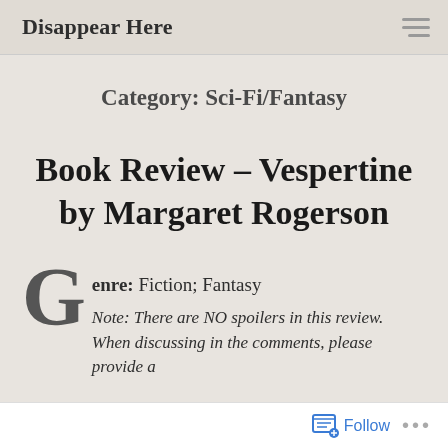Disappear Here
Category: Sci-Fi/Fantasy
Book Review – Vespertine by Margaret Rogerson
Genre: Fiction; Fantasy
Note: There are NO spoilers in this review. When discussing in the comments, please provide a
Follow